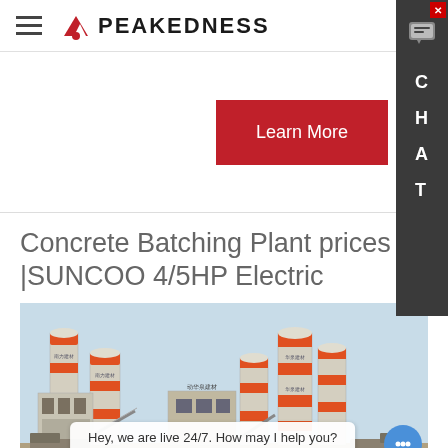PEAKEDNESS
Learn More
Concrete Batching Plant prices |SUNCOO 4/5HP Electric
[Figure (photo): Concrete batching plant facility with white and orange cylindrical silos and industrial buildings against a light blue sky]
Hey, we are live 24/7. How may I help you?